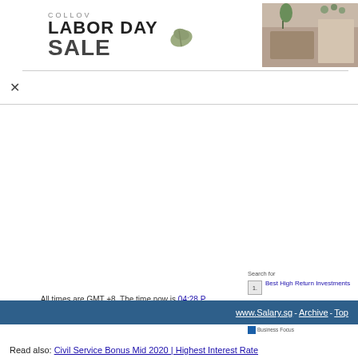[Figure (screenshot): Advertisement banner for Collov Labor Day Sale with furniture room photo]
[Figure (screenshot): Search panel with 'Search for' label and items: 1. Best High Return Investments, 2. Master's Degree In Cybersecurity, 3. Watch Live Streaming, Business Focus branding]
All times are GMT +8. The time now is 04:28 P
www.Salary.sg - Archive - Top
Read also: Civil Service Bonus Mid 2020 | Highest Interest Rate